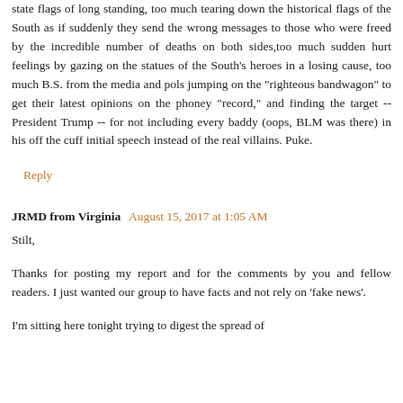state flags of long standing, too much tearing down the historical flags of the South as if suddenly they send the wrong messages to those who were freed by the incredible number of deaths on both sides,too much sudden hurt feelings by gazing on the statues of the South's heroes in a losing cause, too much B.S. from the media and pols jumping on the "righteous bandwagon" to get their latest opinions on the phoney "record," and finding the target -- President Trump -- for not including every baddy (oops, BLM was there) in his off the cuff initial speech instead of the real villains. Puke.
Reply
JRMD from Virginia  August 15, 2017 at 1:05 AM
Stilt,
Thanks for posting my report and for the comments by you and fellow readers. I just wanted our group to have facts and not rely on 'fake news'.
I'm sitting here tonight trying to digest the spread of